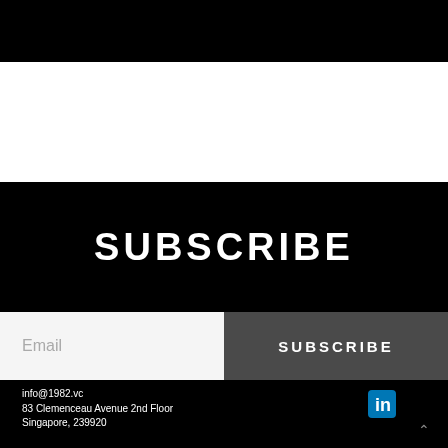[Figure (other): Black top navigation/header bar]
SUBSCRIBE
Email
SUBSCRIBE
info@1982.vc
83 Clemenceau Avenue 2nd Floor
Singapore, 239920
[Figure (logo): LinkedIn icon in blue]
^